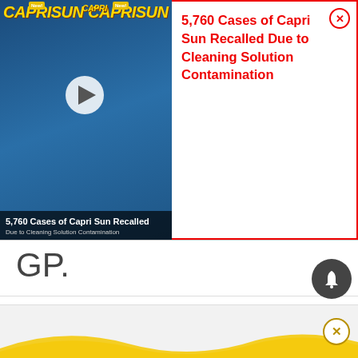[Figure (screenshot): Ad banner showing Capri Sun product video thumbnail on the left with text title '5,760 Cases of Capri Sun Recalled Due to Cleaning Solution Contamination' in red on the right.]
GP.
This was after the Lotus driver triggered the first corner pile-up one race earlier in Belgium.